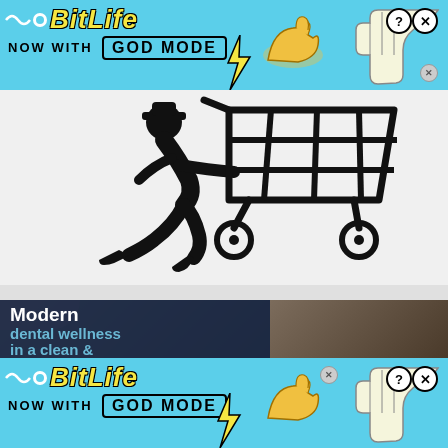[Figure (illustration): BitLife mobile game advertisement banner (top). Light blue background with BitLife logo in yellow italic bold text, 'NOW WITH GOD MODE' text, lightning bolt graphic, pointing hand emoji, and question/close buttons in top right corner.]
[Figure (illustration): Black silhouette of a person running while pushing a shopping cart, on a white/light gray background.]
[Figure (photo): Dental office advertisement showing a dental patient reclining in a chair with a dental professional. Dark navy overlay text reads 'Modern dental wellness in a clean &'. Background shows dental office equipment.]
[Figure (illustration): BitLife mobile game advertisement banner (bottom). Same as top banner: light blue background with BitLife logo in yellow italic bold text, 'NOW WITH GOD MODE' text, lightning bolt graphic, pointing hand emoji, and question/close buttons in top right corner.]